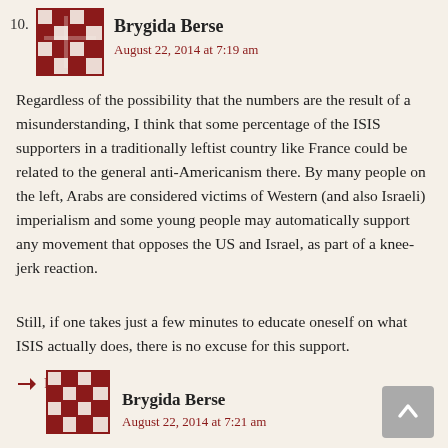10.
[Figure (illustration): User avatar: red and white geometric/mosaic pattern square icon for Brygida Berse]
Brygida Berse
August 22, 2014 at 7:19 am
Regardless of the possibility that the numbers are the result of a misunderstanding, I think that some percentage of the ISIS supporters in a traditionally leftist country like France could be related to the general anti-Americanism there. By many people on the left, Arabs are considered victims of Western (and also Israeli) imperialism and some young people may automatically support any movement that opposes the US and Israel, as part of a knee-jerk reaction.
Still, if one takes just a few minutes to educate oneself on what ISIS actually does, there is no excuse for this support.
↳ Reply
[Figure (illustration): User avatar: red and white geometric/mosaic pattern square icon for Brygida Berse (second comment, smaller)]
Brygida Berse
August 22, 2014 at 7:21 am